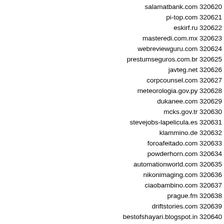salamatbank.com 320620
pi-top.com 320621
eskirf.ru 320622
masteredi.com.mx 320623
webreviewguru.com 320624
prestumseguros.com.br 320625
javteg.net 320626
corpcounsel.com 320627
meteorologia.gov.py 320628
dukanee.com 320629
mcks.gov.tr 320630
stevejobs-lapelicula.es 320631
klammino.de 320632
foroafeitado.com 320633
powderhorn.com 320634
automationworld.com 320635
nikonimaging.com 320636
ciaobambino.com 320637
prague.fm 320638
driftstories.com 320639
bestofshayari.blogspot.in 320640
mpnnow.com 320641
emarquettebank.com 320642
goplerne.dk 320643
coincidance.org 320644
doctorshop.it 320645
multimediosmaldoni.net 320646